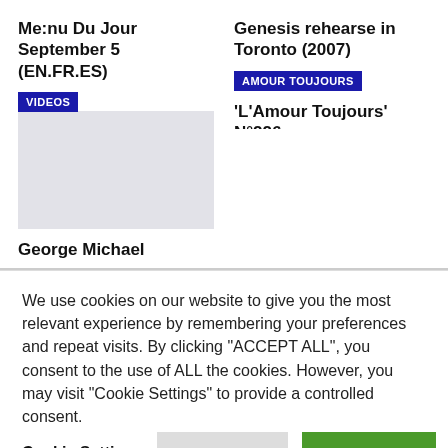Me:nu Du Jour September 5 (EN.FR.ES)
Genesis rehearse in Toronto (2007)
[Figure (other): Video thumbnail placeholder — gray rectangle with VIDEOS tag]
[Figure (other): Image placeholder area with AMOUR TOUJOURS tag]
George Michael
'L'Amour Toujours' N°226
We use cookies on our website to give you the most relevant experience by remembering your preferences and repeat visits. By clicking "ACCEPT ALL", you consent to the use of ALL the cookies. However, you may visit "Cookie Settings" to provide a controlled consent.
Cookie Settings
REJECT ALL
ACCEPT ALL